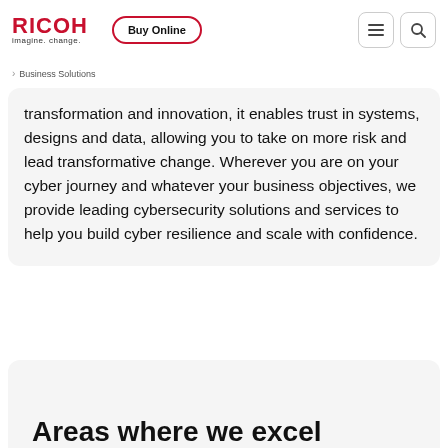RICOH imagine. change.
Business Solutions
transformation and innovation, it enables trust in systems, designs and data, allowing you to take on more risk and lead transformative change. Wherever you are on your cyber journey and whatever your business objectives, we provide leading cybersecurity solutions and services to help you build cyber resilience and scale with confidence.
Areas where we excel